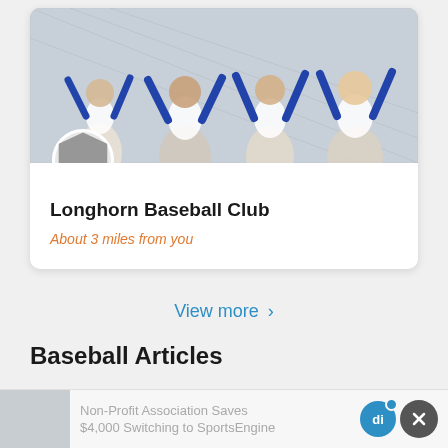[Figure (photo): Kids in blue and white baseball uniforms celebrating with arms raised in front of a chain-link fence]
Longhorn Baseball Club
About 3 miles from you
View more >
Baseball Articles
Non-Profit Association Saves $4,000 Switching to SportsEngine